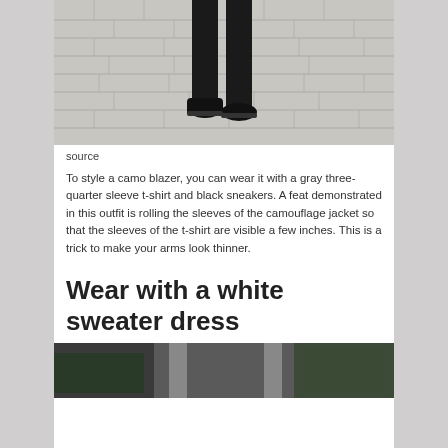[Figure (photo): Legs and feet of a person wearing black pants and black sneakers walking on a stone brick pavement]
source
To style a camo blazer, you can wear it with a gray three-quarter sleeve t-shirt and black sneakers. A feat demonstrated in this outfit is rolling the sleeves of the camouflage jacket so that the sleeves of the t-shirt are visible a few inches. This is a trick to make your arms look thinner.
Wear with a white sweater dress
[Figure (photo): Partial photo at bottom of page, dark tones, person outdoors with trees/pillars in background]